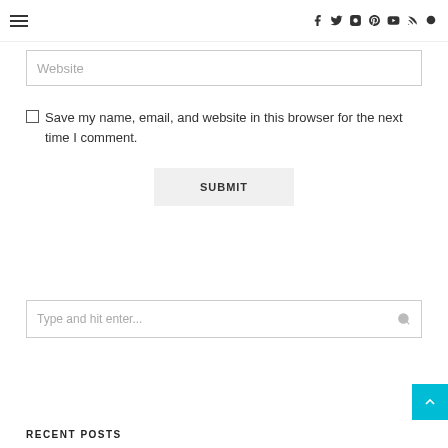≡  f  Twitter  Instagram  Pinterest  YouTube  RSS  Search
Website
Save my name, email, and website in this browser for the next time I comment.
SUBMIT
Type and hit enter...
RECENT POSTS